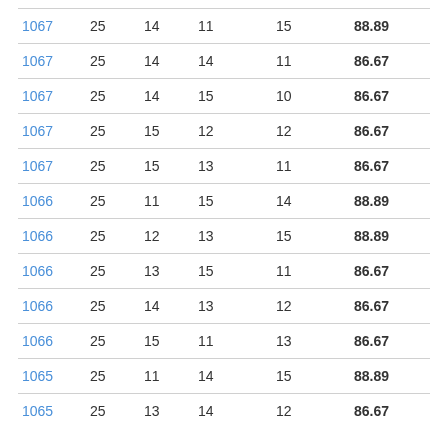| 1067 | 25 | 14 | 11 | 15 | 88.89 |
| 1067 | 25 | 14 | 14 | 11 | 86.67 |
| 1067 | 25 | 14 | 15 | 10 | 86.67 |
| 1067 | 25 | 15 | 12 | 12 | 86.67 |
| 1067 | 25 | 15 | 13 | 11 | 86.67 |
| 1066 | 25 | 11 | 15 | 14 | 88.89 |
| 1066 | 25 | 12 | 13 | 15 | 88.89 |
| 1066 | 25 | 13 | 15 | 11 | 86.67 |
| 1066 | 25 | 14 | 13 | 12 | 86.67 |
| 1066 | 25 | 15 | 11 | 13 | 86.67 |
| 1065 | 25 | 11 | 14 | 15 | 88.89 |
| 1065 | 25 | 13 | 14 | 12 | 86.67 |